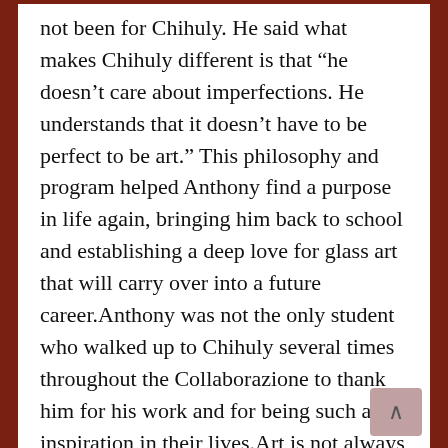not been for Chihuly. He said what makes Chihuly different is that “he doesn’t care about imperfections. He understands that it doesn’t have to be perfect to be art.” This philosophy and program helped Anthony find a purpose in life again, bringing him back to school and establishing a deep love for glass art that will carry over into a future career.Anthony was not the only student who walked up to Chihuly several times throughout the Collaborazione to thank him for his work and for being such an inspiration in their lives.Art is not always just a spectacle to look at and admire. Art can sometimes be an escape from a dark reality. Chihuly, through Hilton Artists and his amazing glass